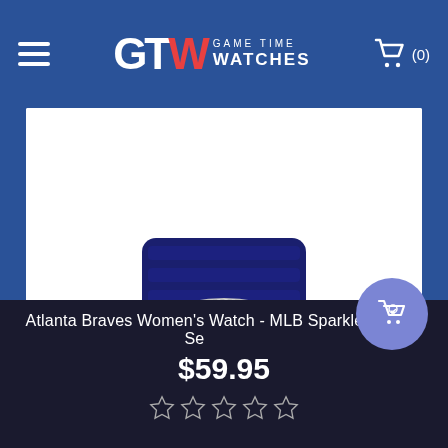Game Time Watches — navigation header with hamburger menu and cart (0)
[Figure (photo): Atlanta Braves MLB Sparkle Series women's sports watch with diamond-encrusted bezel, navy blue rubber band, and blue team logo dial on white background]
Atlanta Braves Women's Watch - MLB Sparkle Se...
$59.95
[Figure (other): 5-star rating display (empty/outline stars)]